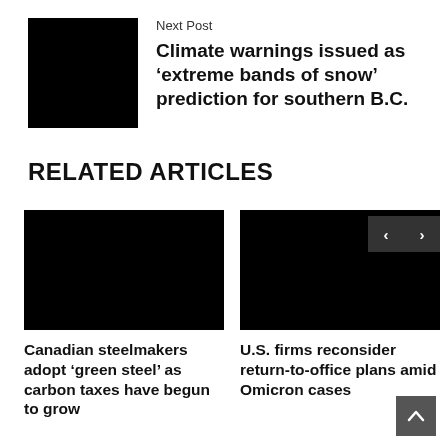Next Post
Climate warnings issued as ‘extreme bands of snow’ prediction for southern B.C.
RELATED ARTICLES
[Figure (photo): Black image placeholder for related article 1]
Canadian steelmakers adopt ‘green steel’ as carbon taxes have begun to grow
[Figure (photo): Black image placeholder for related article 2 with navigation arrows]
U.S. firms reconsider return-to-office plans amid Omicron cases